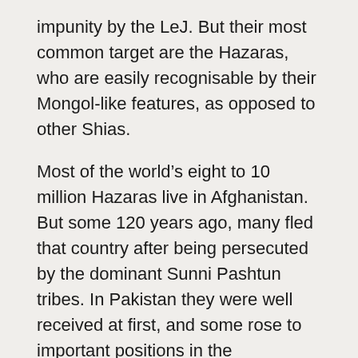impunity by the LeJ. But their most common target are the Hazaras, who are easily recognisable by their Mongol-like features, as opposed to other Shias.
Most of the world's eight to 10 million Hazaras live in Afghanistan. But some 120 years ago, many fled that country after being persecuted by the dominant Sunni Pashtun tribes. In Pakistan they were well received at first, and some rose to important positions in the government.
Over the years, with space for minorities increasingly shrinking, the more educated and affluent among the Hazara community fled to Europe and Australia. In the last decade or so, more than 25,000 Hazaras have fled from Pakistan.
These tragedies have taken a high toll on Hazara women. "In my lane where four other Hazara families live, mine is